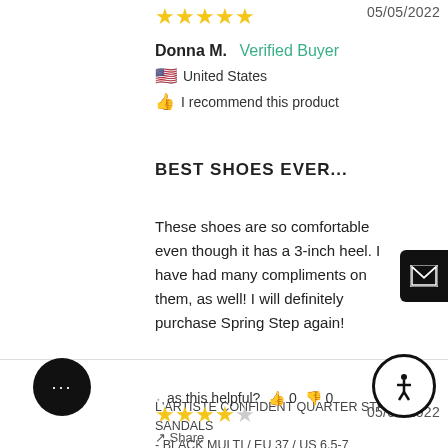[Figure (other): 5 gold star rating]
05/05/2022
Donna M.  Verified Buyer
🇺🇸 United States
👍 I recommend this product
BEST SHOES EVER...
These shoes are so comfortable even though it has a 3-inch heel. I have had many compliments on them, as well! I will definitely purchase Spring Step again!
L'ARTISTE CONFIDENT QUARTER STRAP SANDALS
- BLACK MULTI / EU 37 / US 6.5-7
Share
Was this helpful? 👍 0 👎 0
[Figure (other): 4 gold star rating (partial) and date 05/02/2022 at bottom]